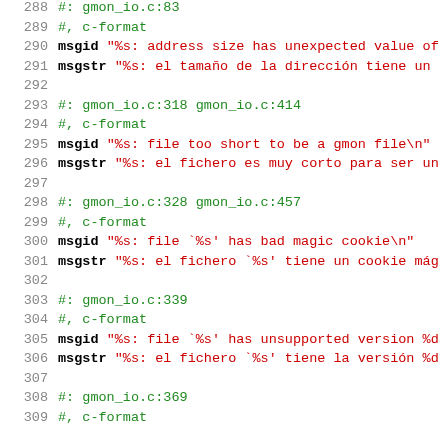288  #: gmon_io.c:83
289  #, c-format
290  msgid "%s: address size has unexpected value of
291  msgstr "%s: el tamaño de la dirección tiene un
292
293  #: gmon_io.c:318 gmon_io.c:414
294  #, c-format
295  msgid "%s: file too short to be a gmon file\n"
296  msgstr "%s: el fichero es muy corto para ser un
297
298  #: gmon_io.c:328 gmon_io.c:457
299  #, c-format
300  msgid "%s: file `%s' has bad magic cookie\n"
301  msgstr "%s: el fichero `%s' tiene un cookie mág
302
303  #: gmon_io.c:339
304  #, c-format
305  msgid "%s: file `%s' has unsupported version %d
306  msgstr "%s: el fichero `%s' tiene la versión %d
307
308  #: gmon_io.c:369
309  #, c-format